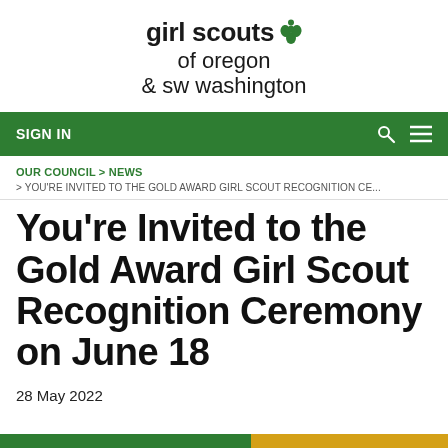[Figure (logo): Girl Scouts of Oregon & SW Washington logo with trefoil icon]
SIGN IN
OUR COUNCIL > NEWS > YOU'RE INVITED TO THE GOLD AWARD GIRL SCOUT RECOGNITION CE...
You're Invited to the Gold Award Girl Scout Recognition Ceremony on June 18
28 May 2022